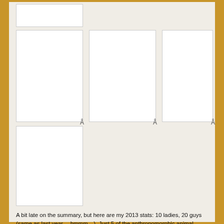[Figure (illustration): A placeholder image box at the top left]
[Figure (illustration): A placeholder image box, middle left, tall]
[Figure (illustration): A placeholder image box, middle center, tall, with Â character below]
[Figure (illustration): A placeholder image box, middle right, tall, with Â character below]
[Figure (illustration): A placeholder image box, bottom left]
A bit late on the summary, but here are my 2013 stats: 10 ladies, 20 guys (same as last year… hmmm…). Just 5 of the anthropomorphic animal-types (including the fire salamander), and (arguably) 12 normal-looking human characters. I was able keep all 30 in a contained fantasy story this year, including 10 avatar characters. My secret theme this year was martial arts characters of which there were 5 (karate or kung fu), and one afro kid who's moving his arms like tai chi.